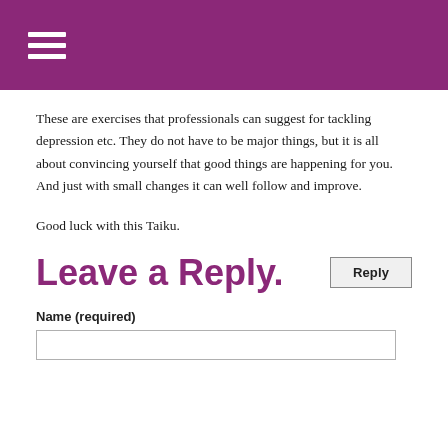These are exercises that professionals can suggest for tackling depression etc. They do not have to be major things, but it is all about convincing yourself that good things are happening for you. And just with small changes it can well follow and improve.
Good luck with this Taiku.
Reply
Leave a Reply.
Name (required)